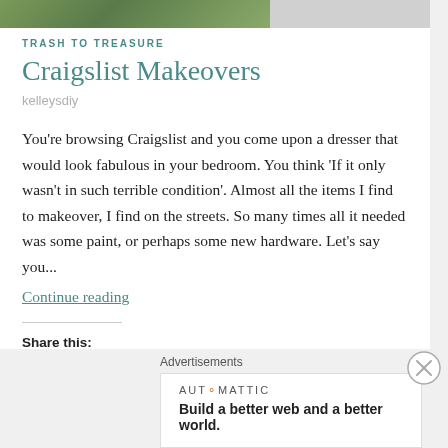[Figure (photo): Partial image strip showing outdoor greenery/nature photo on left, gray placeholder on right]
TRASH TO TREASURE
Craigslist Makeovers
kelleysdiy
You're browsing Craigslist and you come upon a dresser that would look fabulous in your bedroom. You think 'If it only wasn't in such terrible condition'. Almost all the items I find to makeover, I find on the streets. So many times all it needed was some paint, or perhaps some new hardware. Let's say you...
Continue reading
Share this:
Advertisements
[Figure (logo): Automattic logo and tagline: Build a better web and a better world.]